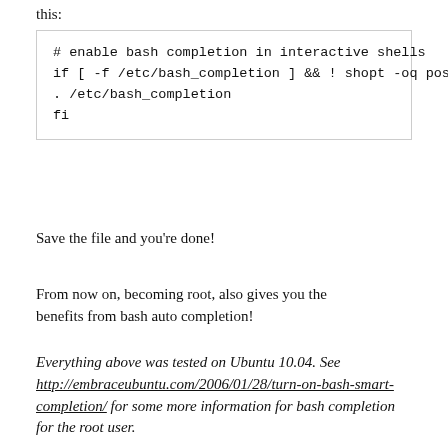this:
# enable bash completion in interactive shells
if [ -f /etc/bash_completion ] && ! shopt -oq posix; then
. /etc/bash_completion
fi
Save the file and you're done!
From now on, becoming root, also gives you the benefits from bash auto completion!
Everything above was tested on Ubuntu 10.04. See http://embraceubuntu.com/2006/01/28/turn-on-bash-smart-completion/ for some more information for bash completion for the root user.